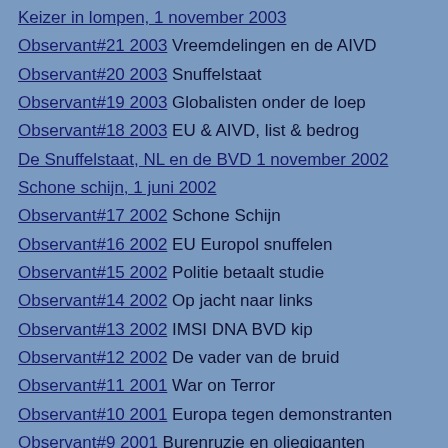Keizer in lompen, 1 november 2003
Observant#21 2003 Vreemdelingen en de AIVD
Observant#20 2003 Snuffelstaat
Observant#19 2003 Globalisten onder de loep
Observant#18 2003 EU & AIVD, list & bedrog
De Snuffelstaat, NL en de BVD 1 november 2002
Schone schijn, 1 juni 2002
Observant#17 2002 Schone Schijn
Observant#16 2002 EU Europol snuffelen
Observant#15 2002 Politie betaalt studie
Observant#14 2002 Op jacht naar links
Observant#13 2002 IMSI DNA BVD kip
Observant#12 2002 De vader van de bruid
Observant#11 2001 War on Terror
Observant#10 2001 Europa tegen demonstranten
Observant#9 2001 Burenruzie en oliegiganten
Observant#8 2001 Veiligheid en zekerheid
Observant#7 2001 Camus Echelon Greenpeace
Zoom, cameratoezicht, 1 augustus 2000
Tindertoezicht, 1 juli 2000